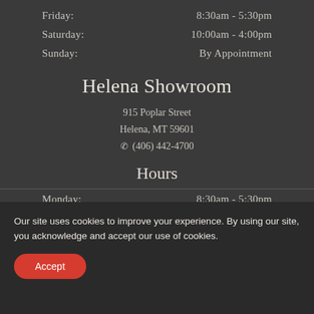Friday: 8:30am - 5:30pm
Saturday: 10:00am - 4:00pm
Sunday: By Appointment
Helena Showroom
915 Poplar Street
Helena, MT 59601
☎ (406) 442-4700
Hours
Monday: 8:30am - 5:30pm
Our site uses cookies to improve your experience. By using our site, you acknowledge and accept our use of cookies.
Accept